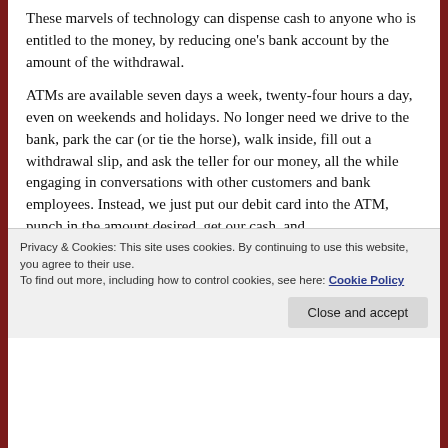These marvels of technology can dispense cash to anyone who is entitled to the money, by reducing one's bank account by the amount of the withdrawal.
ATMs are available seven days a week, twenty-four hours a day, even on weekends and holidays. No longer need we drive to the bank, park the car (or tie the horse), walk inside, fill out a withdrawal slip, and ask the teller for our money, all the while engaging in conversations with other customers and bank employees. Instead, we just put our debit card into the ATM, punch in the amount desired, get our cash, and .
Privacy & Cookies: This site uses cookies. By continuing to use this website, you agree to their use.
To find out more, including how to control cookies, see here: Cookie Policy